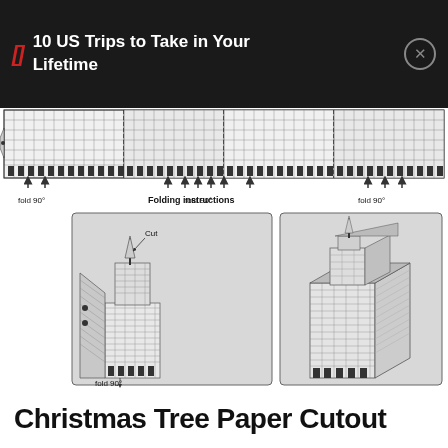10 US Trips to Take in Your Lifetime
[Figure (schematic): Paper cutout template for a Christmas tree/skyscraper building model. Top portion shows a flat unfolded strip with grid-hatched building facade pattern and fold/cut marks with arrows. Labels read: 'fold 90°', 'Folding instructions', 'fold 90°', 'fold 90°'. Bottom portion shows two assembly diagrams in gray boxes: left box shows building being folded with 'Cut' arrow and 'fold 90°' label; right box shows completed 3D folded skyscraper building.]
Christmas Tree Paper Cutout